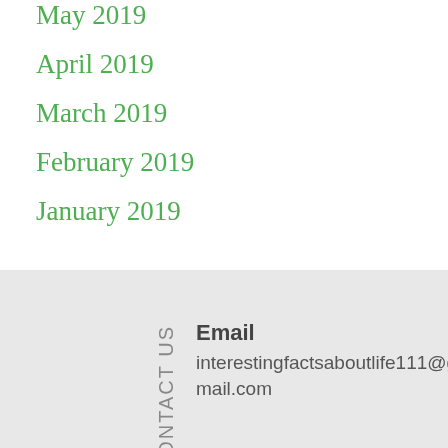May 2019
April 2019
March 2019
February 2019
January 2019
CONTACT US
Email
interestingfactsaboutlife111@gmail.com